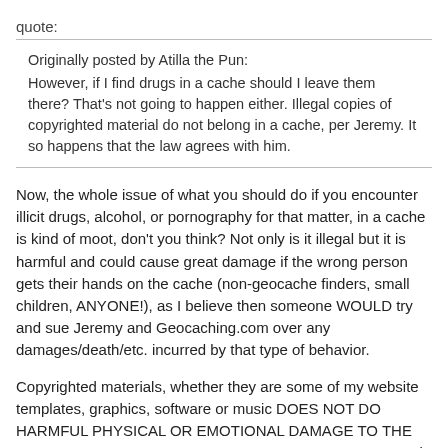quote:
Originally posted by Atilla the Pun:
However, if I find drugs in a cache should I leave them there? That's not going to happen either. Illegal copies of copyrighted material do not belong in a cache, per Jeremy. It so happens that the law agrees with him.
Now, the whole issue of what you should do if you encounter illicit drugs, alcohol, or pornography for that matter, in a cache is kind of moot, don't you think? Not only is it illegal but it is harmful and could cause great damage if the wrong person gets their hands on the cache (non-geocache finders, small children, ANYONE!), as I believe then someone WOULD try and sue Jeremy and Geocaching.com over any damages/death/etc. incurred by that type of behavior.
Copyrighted materials, whether they are some of my website templates, graphics, software or music DOES NOT DO HARMFUL PHYSICAL OR EMOTIONAL DAMAGE TO THE ENVIRONMENT OR THE PEOPLE WHO UTILIZE THEM. It is an issue of ethics. The above illicit materials are not.